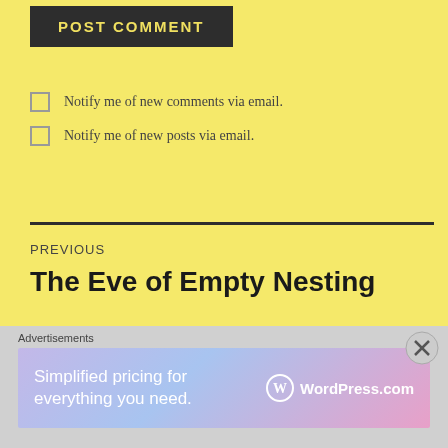POST COMMENT
Notify me of new comments via email.
Notify me of new posts via email.
PREVIOUS
The Eve of Empty Nesting
Advertisements
[Figure (screenshot): WordPress.com advertisement banner with gradient background (purple to blue to pink) showing text 'Simplified pricing for everything you need.' and WordPress.com logo on the right]